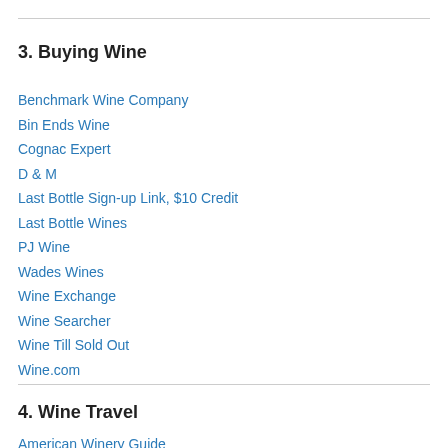3. Buying Wine
Benchmark Wine Company
Bin Ends Wine
Cognac Expert
D & M
Last Bottle Sign-up Link, $10 Credit
Last Bottle Wines
PJ Wine
Wades Wines
Wine Exchange
Wine Searcher
Wine Till Sold Out
Wine.com
4. Wine Travel
American Winery Guide